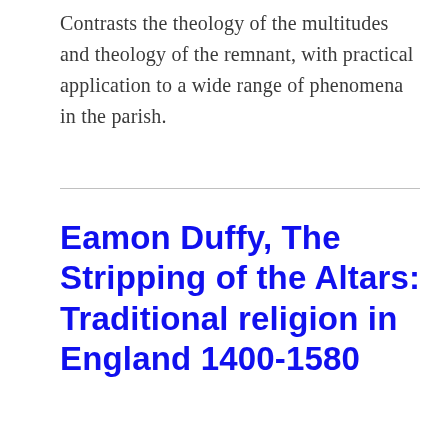Contrasts the theology of the multitudes and theology of the remnant, with practical application to a wide range of phenomena in the parish.
Eamon Duffy, The Stripping of the Altars: Traditional religion in England 1400-1580